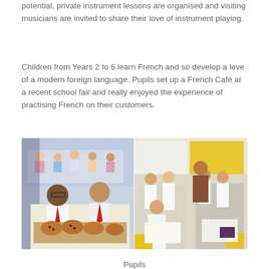potential, private instrument lessons are organised and visiting musicians are invited to share their love of instrument playing.
Children from Years 2 to 6 learn French and so develop a love of a modern foreign language. Pupils set up a French Café at a recent school fair and really enjoyed the experience of practising French on their customers.
[Figure (photo): Two side-by-side school photos: left shows pupils at a table with baked goods and other students seated in background; right shows pupils in white lab coats working at tables in a science/classroom setting.]
Pupils